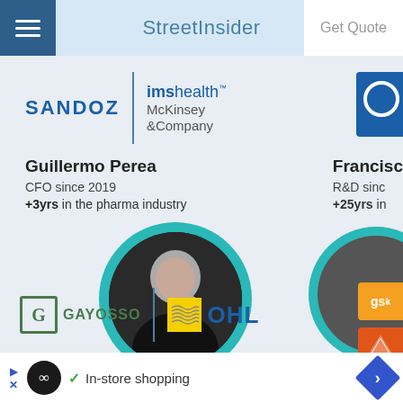StreetInsider | Get Quote
[Figure (logo): SANDOZ logo and imshealth McKinsey & Company logos separated by vertical divider]
Guillermo Perea
CFO since 2019
+3yrs in the pharma industry
Francisco
R&D sinc
+25yrs in
[Figure (photo): Black and white profile photo of Guillermo Perea in a teal circular frame]
[Figure (photo): Partial profile photo in teal circular frame on right side]
[Figure (logo): Gayosso logo and OHL logo separated by vertical divider]
[Figure (logo): Partial GSK and orange brand logos on right side]
In-store shopping